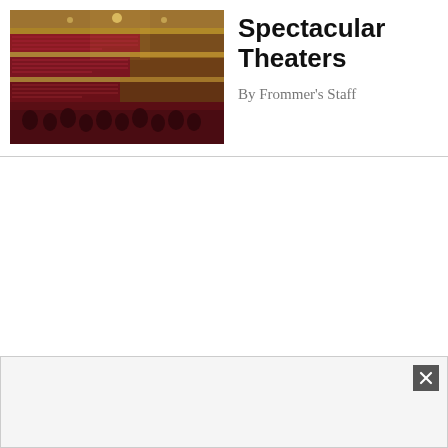[Figure (photo): Interior of a grand opera house or theater showing multiple tiers of red velvet seats and ornate gold balcony railings, viewed from stage level looking out.]
Spectacular Theaters
By Frommer's Staff
[Figure (other): Advertisement banner at the bottom of the page with a close/dismiss button (X) in the upper right corner.]